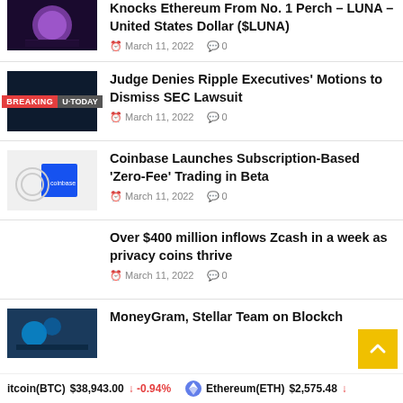Knocks Ethereum From No. 1 Perch – LUNA – United States Dollar ($LUNA)
March 11, 2022  0
[Figure (photo): Dark/purple moon image]
Judge Denies Ripple Executives' Motions to Dismiss SEC Lawsuit
March 11, 2022  0
[Figure (photo): Dark background with BREAKING U.TODAY label]
Coinbase Launches Subscription-Based 'Zero-Fee' Trading in Beta
March 11, 2022  0
[Figure (photo): Coinbase logo on blue background with magnifying glass]
Over $400 million inflows Zcash in a week as privacy coins thrive
March 11, 2022  0
MoneyGram, Stellar Team on Blockch…
[Figure (photo): MoneyGram Stellar blockchain image]
Bitcoin(BTC) $38,943.00 ↓ -0.94%   Ethereum(ETH) $2,575.48 ↓